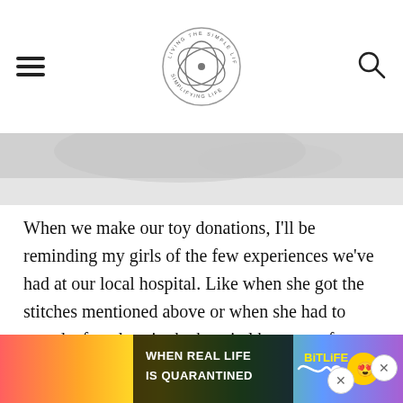Simplifying Life — navigation header with hamburger menu and search icon
[Figure (photo): Partial hero image, light gray/white background, appears to be a hand or arm, cropped]
When we make our toy donations, I'll be reminding my girls of the few experiences we've had at our local hospital. Like when she got the stitches mentioned above or when she had to spend a few days in the hospital because of a nasty virus that hit her hard in preschool. She was too young to remember the experience, but... She remembers... that she...
[Figure (screenshot): Advertisement banner: WHEN REAL LIFE IS QUARANTINED — BitLife app ad with colorful rainbow background and emoji character]